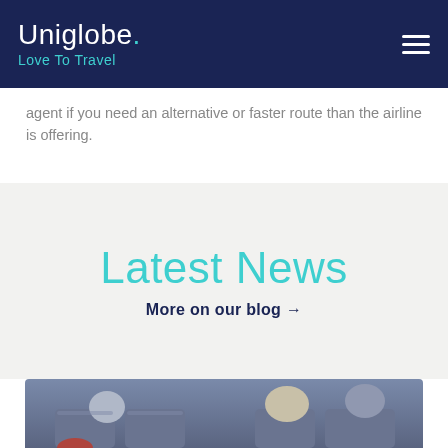Uniglobe. Love To Travel
agent if you need an alternative or faster route than the airline is offering.
Latest News
More on our blog →
[Figure (photo): Photo of passengers seated in airplane cabin, viewed from behind, showing backs of heads and seats]